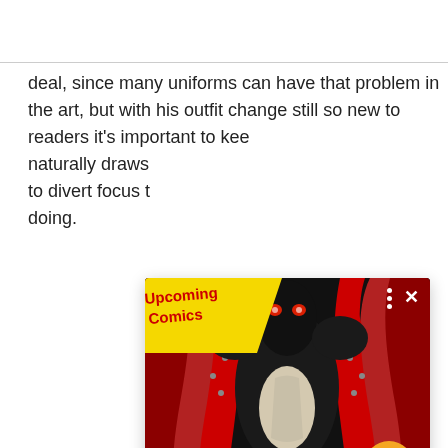deal, since many uniforms can have that problem in the art, but with his outfit change still so new to readers it's important to kee... naturally draws... to divert focus t... doing.
[Figure (illustration): A popup card overlaying the article text, showing a comic book cover image of a creature with red and black coloring and a yellow diagonal banner reading 'Upcoming Comics' in red text. An orange circular arrow button appears at bottom right. An X close button appears at top right. Three white dots appear near the top right of the image.]
Upcoming Comics: August23, 2022